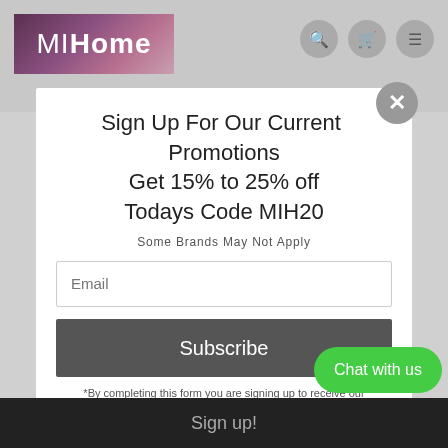MIHome
For large, heavy, or fragile items delivered via special carrier: Follow the same steps above, but instead of printing a shipping label, we'll coordinate for the carrier to pick up the item at your convenience...
Refunds:
In most cases when you return an item, you can choose between store credit or receive a refund to your original payment method.
Canceling Returns
Already filled out the return form but changed your mind? No worry! You can cancel the return email to at info@matthewizenhome.com, with order number.
Sign Up For Our Current  Promotions
Get 15% to 25% off
Todays Code MIH20
Some Brands May Not Apply
Email
Subscribe
*By completing this form you are signing up to receive our emails and can unsubscribe at an
Chat with us
Sign up!